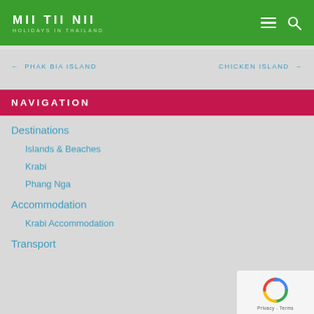MII TII NII — HOLIDAYS IN THAILAND
← PHAK BIA ISLAND
CHICKEN ISLAND →
NAVIGATION
Destinations
Islands & Beaches
Krabi
Phang Nga
Accommodation
Krabi Accommodation
Transport